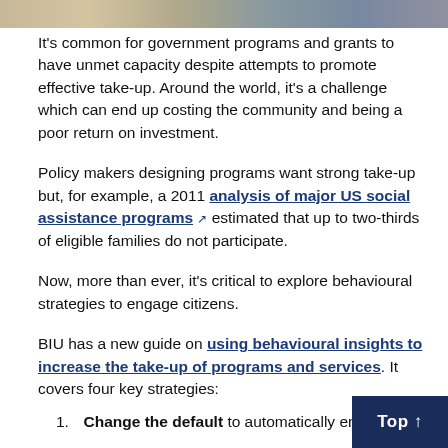[Figure (photo): Partial photo strip at top of page showing people or community scene]
It's common for government programs and grants to have unmet capacity despite attempts to promote effective take-up. Around the world, it's a challenge which can end up costing the community and being a poor return on investment.
Policy makers designing programs want strong take-up but, for example, a 2011 analysis of major US social assistance programs (external link) estimated that up to two-thirds of eligible families do not participate.
Now, more than ever, it's critical to explore behavioural strategies to engage citizens.
BIU has a new guide on using behavioural insights to increase the take-up of programs and services. It covers four key strategies:
Change the default to automatically enrol